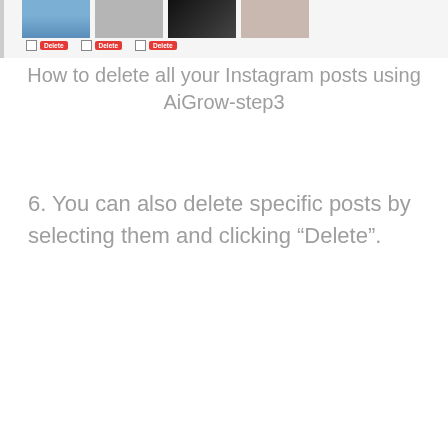[Figure (screenshot): Screenshot of Instagram post management interface showing thumbnail images of posts with checkboxes and red Delete buttons below each post.]
How to delete all your Instagram posts using AiGrow-step3
6. You can also delete specific posts by selecting them and clicking “Delete”.